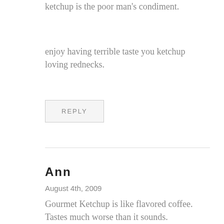ketchup is the poor man's condiment.
enjoy having terrible taste you ketchup loving rednecks.
REPLY
Ann
August 4th, 2009
Gourmet Ketchup is like flavored coffee. Tastes much worse than it sounds.
If you want to rant about